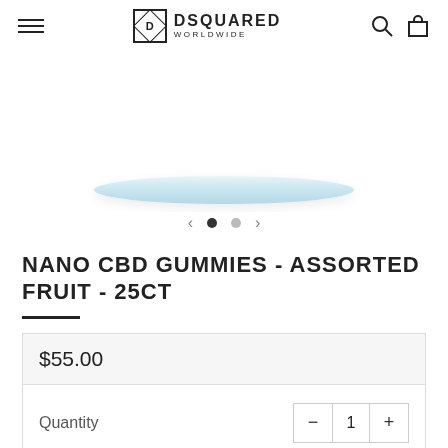DSQUARED WORLDWIDE
[Figure (photo): Product image showing a white plate or container with a blue rim/accent, partially visible at top]
[Figure (other): Image carousel navigation with left arrow, filled black dot, grey dot, and right arrow]
NANO CBD GUMMIES - ASSORTED FRUIT - 25CT
$55.00
Quantity
SOLD OUT